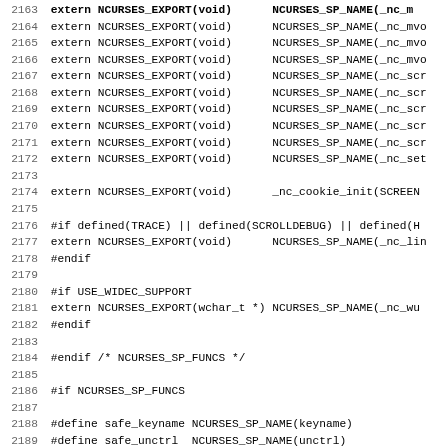Source code listing lines 2163-2195, C header file with ncurses SP_FUNCS declarations